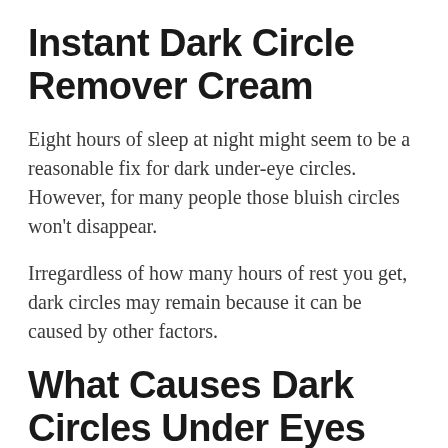Instant Dark Circle Remover Cream
Eight hours of sleep at night might seem to be a reasonable fix for dark under-eye circles. However, for many people those bluish circles won't disappear.
Irregardless of how many hours of rest you get, dark circles may remain because it can be caused by other factors.
What Causes Dark Circles Under Eyes